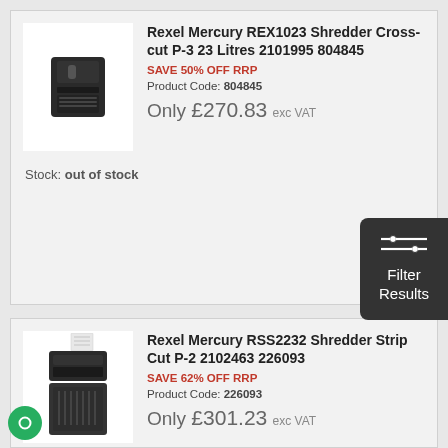[Figure (photo): Rexel Mercury REX1023 shredder product photo]
Rexel Mercury REX1023 Shredder Cross-cut P-3 23 Litres 2101995 804845
SAVE 50% OFF RRP
Product Code: 804845
Only £270.83 exc VAT
Stock: out of stock
[Figure (photo): Rexel Mercury RSS2232 shredder product photo]
Rexel Mercury RSS2232 Shredder Strip Cut P-2 2102463 226093
SAVE 62% OFF RRP
Product Code: 226093
Only £301.23 exc VAT